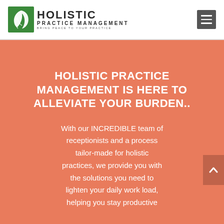[Figure (logo): Holistic Practice Management logo with green leaf/plant icon and text 'HOLISTIC PRACTICE MANAGEMENT — Bring Peace to Your Practice']
[Figure (other): Hamburger menu icon (three horizontal white lines on dark grey square background)]
HOLISTIC PRACTICE MANAGEMENT IS HERE TO ALLEVIATE YOUR BURDEN..
With our INCREDIBLE team of receptionists and a process tailor-made for holistic practices, we provide you with the solutions you need to lighten your daily work load, helping you stay productive
[Figure (other): Scroll-to-top arrow button (upward chevron on dark salmon/brown background)]